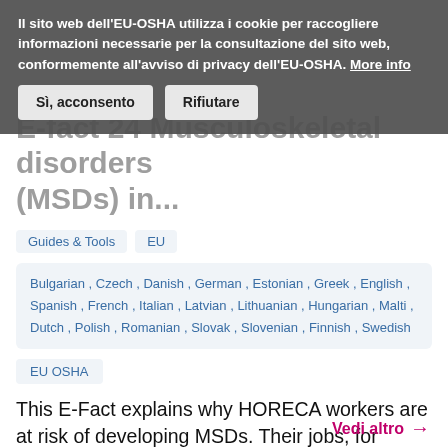Il sito web dell'EU-OSHA utilizza i cookie per raccogliere informazioni necessarie per la consultazione del sito web, conformemente all'avviso di privacy dell'EU-OSHA. More info
E-fact 24 Musculoskeletal disorders (MSDs) in...
Guides & Tools   EU
Bulgarian , Czech , Danish , German , Estonian , Greek , English , Spanish , French , Italian , Latvian , Lithuanian , Hungarian , Malti , Dutch , Polish , Romanian , Slovak , Slovenian , Finnish , Swedish
EU OSHA
This E-Fact explains why HORECA workers are at risk of developing MSDs. Their jobs, for example, often involve prolonged standing and working in awkward postures. Much of their work is physically demanding, stressful and involves long working hours. Employers need to adapt prevention and...
Vedi altro →